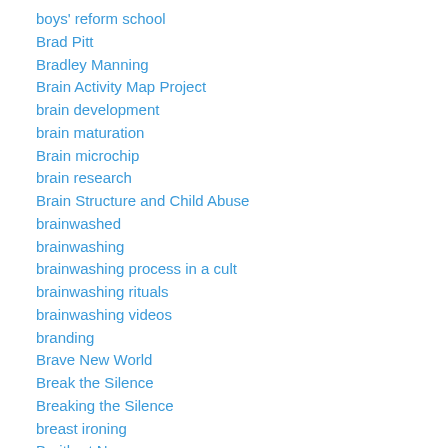boys' reform school
Brad Pitt
Bradley Manning
Brain Activity Map Project
brain development
brain maturation
Brain microchip
brain research
Brain Structure and Child Abuse
brainwashed
brainwashing
brainwashing process in a cult
brainwashing rituals
brainwashing videos
branding
Brave New World
Break the Silence
Breaking the Silence
breast ironing
Breitbart News